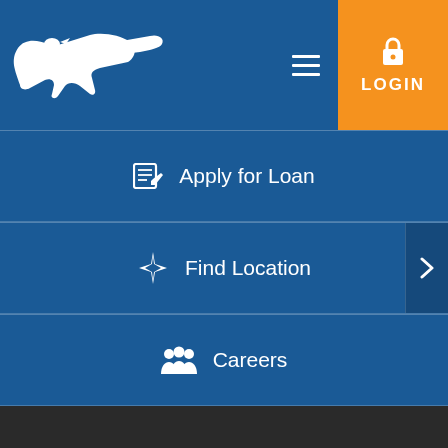[Figure (logo): White eagle/bird logo with wing design on dark blue background]
[Figure (screenshot): Navigation menu item: Apply for Loan with pencil/form icon]
[Figure (screenshot): Navigation menu item: Find Location with compass star icon and arrow]
[Figure (screenshot): Navigation menu item: Careers with people/group icon]
LATEST NEWS